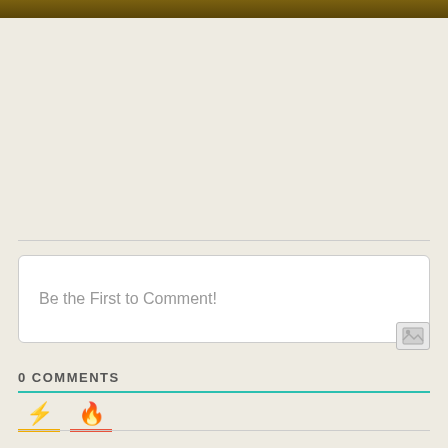[Figure (other): Dark brown/olive colored top navigation bar]
Be the First to Comment!
[Figure (other): Image upload icon button (landscape photo icon)]
0 COMMENTS
[Figure (other): Lightning bolt icon with orange underline bar and fire/flame icon with red underline bar, representing comment sorting tabs]